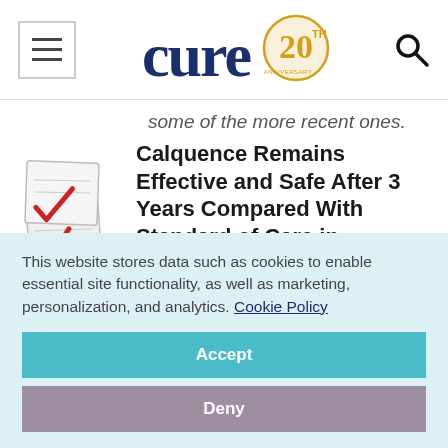cure 20th anniversary
some of the more recent ones.
Calquence Remains Effective and Safe After 3 Years Compared With Standard of Care in Relapsed/Refractory Chronic Lymphocytic
[Figure (illustration): Three red checkmark icons on clipboard/paper forms stacked at an angle]
This website stores data such as cookies to enable essential site functionality, as well as marketing, personalization, and analytics. Cookie Policy
Accept
Deny